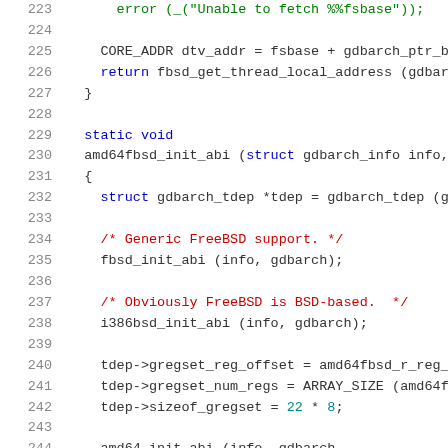[Figure (screenshot): Source code screenshot showing C code lines 223-244 from a GDB architecture file for AMD64 FreeBSD ABI initialization]